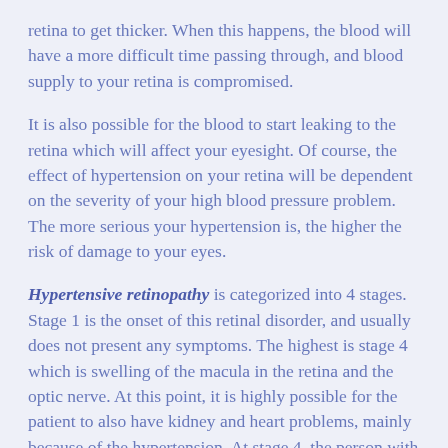retina to get thicker. When this happens, the blood will have a more difficult time passing through, and blood supply to your retina is compromised.
It is also possible for the blood to start leaking to the retina which will affect your eyesight. Of course, the effect of hypertension on your retina will be dependent on the severity of your high blood pressure problem. The more serious your hypertension is, the higher the risk of damage to your eyes.
Hypertensive retinopathy is categorized into 4 stages. Stage 1 is the onset of this retinal disorder, and usually does not present any symptoms. The highest is stage 4 which is swelling of the macula in the retina and the optic nerve. At this point, it is highly possible for the patient to also have kidney and heart problems, mainly because of the hypertension. At stage 4, the person with the